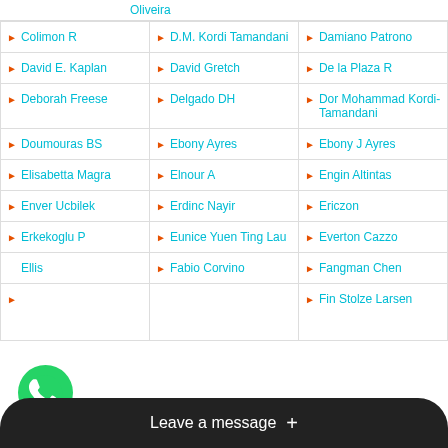Oliveira
Colimon R
D.M. Kordi Tamandani
Damiano Patrono
David E. Kaplan
David Gretch
De la Plaza R
Deborah Freese
Delgado DH
Dor Mohammad Kordi-Tamandani
Doumouras BS
Ebony Ayres
Ebony J Ayres
Elisabetta Magra
Elnour A
Engin Altintas
Enver Ucbilek
Erdinc Nayir
Ericzon
Erkekoglu P
Eunice Yuen Ting Lau
Everton Cazzo
Ellis
Fabio Corvino
Fangman Chen
Fin Stolze Larsen